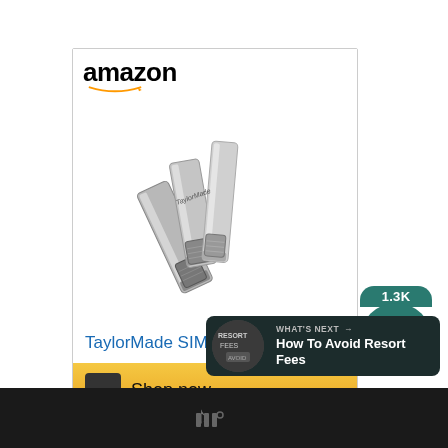[Figure (screenshot): Amazon advertisement banner for TaylorMade SIM MAX Irons golf clubs. Shows Amazon logo at top, product image of golf irons in the center, blue link text 'TaylorMade SIM MAX Irons,...', and a golden 'Shop now' button with Amazon 'a' icon at the bottom.]
[Figure (screenshot): Social media UI elements: a heart/like button (white circle with heart outline showing 1.3K count), a teal share button (circle with share icon), and a 'WHAT'S NEXT → How To Avoid Resort Fees' recommendation banner on dark background.]
[Figure (logo): Mixcloud logo on black footer bar, rendered as stylized W with degree symbol]